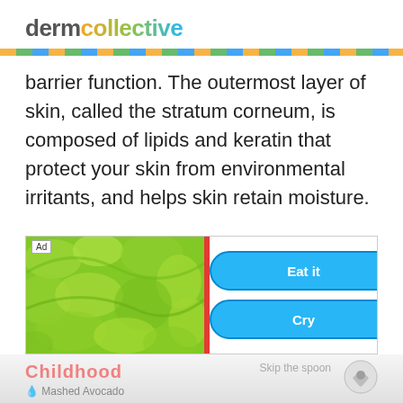dermcollective
barrier function. The outermost layer of skin, called the stratum corneum, is composed of lipids and keratin that protect your skin from environmental irritants, and helps skin retain moisture.
[Figure (screenshot): Advertisement banner showing green lettuce image on left with a red divider, and two blue rounded buttons labeled 'Eat it' and 'Cry' on the right. 'Ad' label in top-left corner.]
[Figure (screenshot): Partial reflection/bottom strip showing 'Childhood' text in pink, 'Skip the spoon' text, and 'Mashed Avocado' text with a utensil icon.]